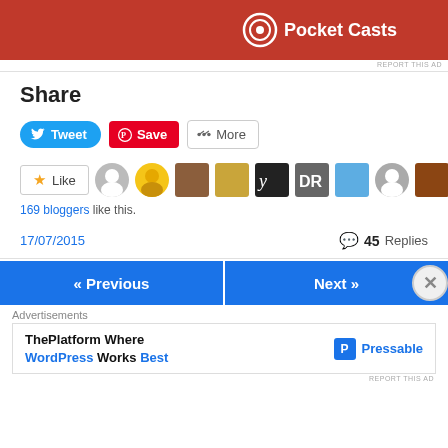[Figure (screenshot): Pocket Casts advertisement banner with red background and white logo/text]
REPORT THIS AD
Share
[Figure (screenshot): Social share buttons: Tweet (Twitter/blue), Save (Pinterest/red), More (share icon/gray outline)]
[Figure (screenshot): Like button with star icon followed by a row of blogger avatar thumbnails]
169 bloggers like this.
17/07/2015
45 Replies
[Figure (screenshot): Navigation buttons: « Previous and Next »]
Advertisements
[Figure (screenshot): Pressable advertisement: ThePlatform Where WordPress Works Best]
REPORT THIS AD